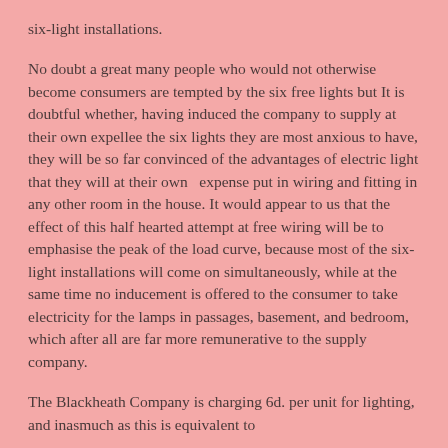six-light installations.
No doubt a great many people who would not otherwise become consumers are tempted by the six free lights but It is doubtful whether, having induced the company to supply at their own expellee the six lights they are most anxious to have, they will be so far convinced of the advantages of electric light that they will at their own    expense put in wiring and fitting in any other room in the house. It would appear to us that the effect of this half hearted attempt at free wiring will be to emphasise the peak of the load curve, because most of the six-light installations will come on simultaneously, while at the same time no inducement is offered to the consumer to take electricity for the lamps in passages, basement, and bedroom, which after all are far more remunerative to the supply company.
The Blackheath Company is charging 6d. per unit for lighting, and inasmuch as this is equivalent to